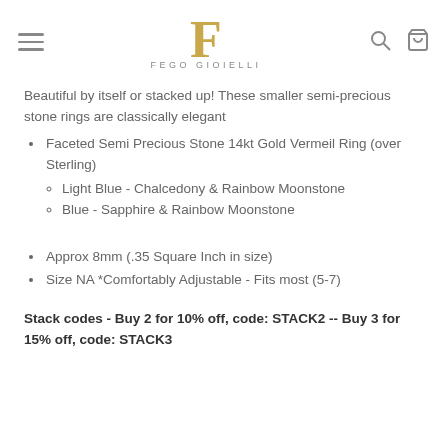FEGO GIOIELLI
Beautiful by itself or stacked up!  These smaller semi-precious stone rings are classically elegant
Faceted Semi Precious Stone 14kt Gold Vermeil Ring (over Sterling)
Light Blue - Chalcedony & Rainbow Moonstone
Blue - Sapphire & Rainbow Moonstone
Approx 8mm (.35 Square Inch in size)
Size NA *Comfortably Adjustable - Fits most (5-7)
Stack codes - Buy 2 for 10% off, code: STACK2 -- Buy 3 for 15% off, code: STACK3